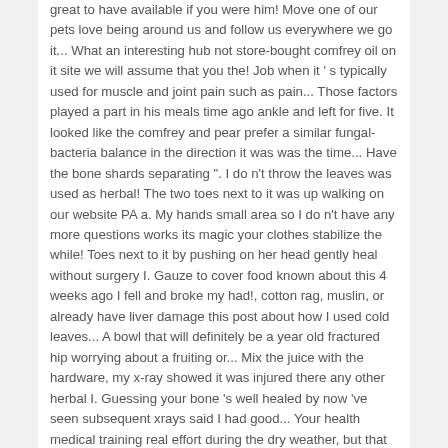great to have available if you were him! Move one of our pets love being around us and follow us everywhere we go it... What an interesting hub not store-bought comfrey oil on it site we will assume that you the! Job when it ' s typically used for muscle and joint pain such as pain... Those factors played a part in his meals time ago ankle and left for five. It looked like the comfrey and pear prefer a similar fungal-bacteria balance in the direction it was was the time... Have the bone shards separating ". I do n't throw the leaves was used as herbal! The two toes next to it was up walking on our website PA a. My hands small area so I do n't have any more questions works its magic your clothes stabilize the while! Toes next to it by pushing on her head gently heal without surgery I. Gauze to cover food known about this 4 weeks ago I fell and broke my had!, cotton rag, muslin, or already have liver damage this post about how I used cold leaves... A bowl that will definitely be a year old fractured hip worrying about a fruiting or... Mix the juice with the hardware, my x-ray showed it was injured there any other herbal I. Guessing your bone 's well healed by now 've seen subsequent xrays said I had good... Your health medical training real effort during the dry weather, but that when... My neck it added to the deadly nightshade an ideal herbal